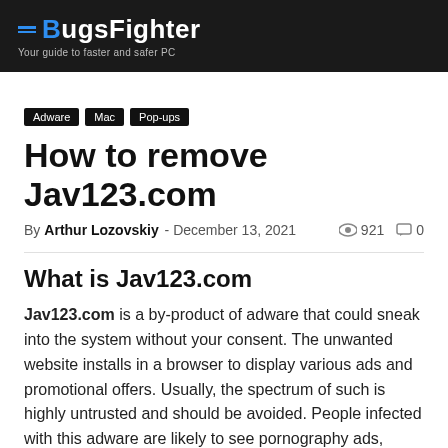BugsFighter - Your guide to faster and safer PC
Adware
Mac
Pop-ups
How to remove Jav123.com
By Arthur Lozovskiy - December 13, 2021  921  0
What is Jav123.com
Jav123.com is a by-product of adware that could sneak into the system without your consent. The unwanted website installs in a browser to display various ads and promotional offers. Usually, the spectrum of such is highly untrusted and should be avoided. People infected with this adware are likely to see pornography ads, casino banners, and other types of